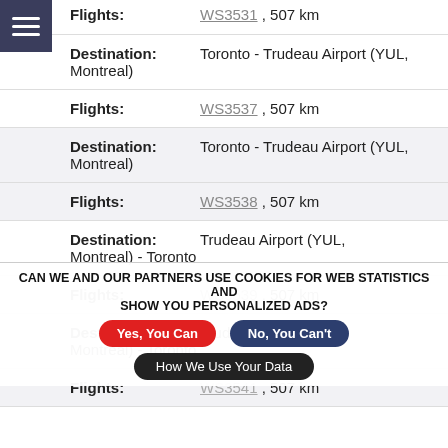Flights: WS3531, 507 km (partial, top cut off)
Destination: Toronto - Trudeau Airport (YUL, Montreal)
Flights: WS3537, 507 km
Destination: Toronto - Trudeau Airport (YUL, Montreal)
Flights: WS3538, 507 km
Destination: Trudeau Airport (YUL, Montreal) - Toronto
Flights: WS3539, 507 km
Destination: Trudeau Airport (YUL, Montreal) - Toronto
Flights: WS3541, 507 km
CAN WE AND OUR PARTNERS USE COOKIES FOR WEB STATISTICS AND SHOW YOU PERSONALIZED ADS?
Yes, You Can
No, You Can't
How We Use Your Data